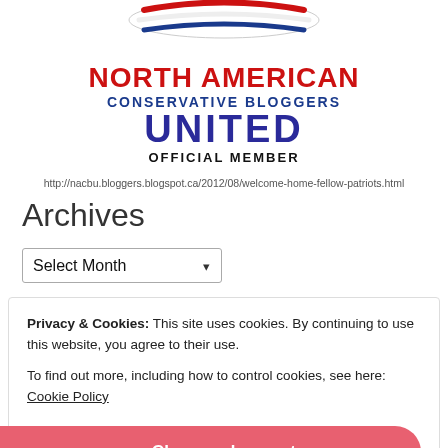[Figure (logo): North American Conservative Bloggers United Official Member logo with flag graphic and red/blue text]
http://nacbu.bloggers.blogspot.ca/2012/08/welcome-home-fellow-patriots.html
Archives
Select Month (dropdown)
Privacy & Cookies: This site uses cookies. By continuing to use this website, you agree to their use.
To find out more, including how to control cookies, see here: Cookie Policy
Close and accept